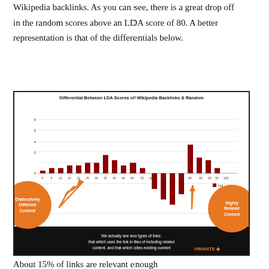Wikipedia backlinks. As you can see, there is a great drop off in the random scores above an LDA score of 80. A better representation is that of the differentials below.
[Figure (bar-chart): Bar chart showing differential between LDA scores of Wikipedia backlinks and random. Bars are mostly positive for low LDA scores (0-60) indicating distinctively different content, then become negative around scores 60-80, then strongly positive again around 85-90 indicating highly related content. Two orange circles annotate 'Distinctively Different Content' and 'Highly Related Content'.]
About 15% of links are relevant enough